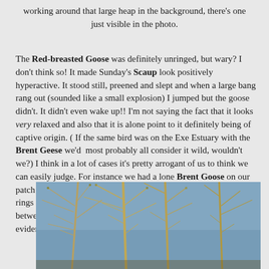working around that large heap in the background, there's one just visible in the photo.
The Red-breasted Goose was definitely unringed, but wary? I don't think so! It made Sunday's Scaup look positively hyperactive. It stood still, preened and slept and when a large bang rang out (sounded like a small explosion) I jumped but the goose didn't. It didn't even wake up!! I'm not saying the fact that it looks very relaxed and also that it is alone point to it definitely being of captive origin. ( If the same bird was on the Exe Estuary with the Brent Geese we'd most probably all consider it wild, wouldn't we?) I think in a lot of cases it's pretty arrogant of us to think we can easily judge. For instance we had a lone Brent Goose on our patch in March this year which was also pretty confiding, but the rings it was wearing proved it had been part a wild flock travelling between Iceland (where it was ringed) and Ireland. Without this evidence it would no doubt have been judged as 'plastic'. Wrongly.
[Figure (photo): Photograph showing bare winter tree branches against a blue-grey water or sky background, taken in natural outdoor setting.]